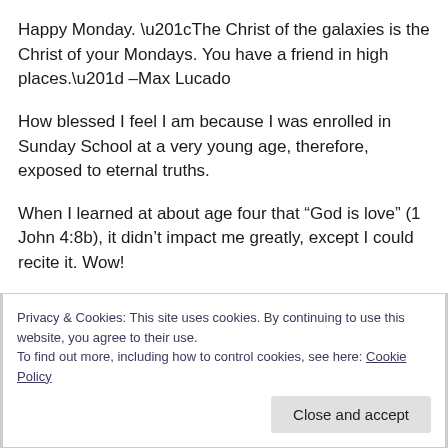Happy Monday. “The Christ of the galaxies is the Christ of your Mondays. You have a friend in high places.” –Max Lucado
How blessed I feel I am because I was enrolled in Sunday School at a very young age, therefore, exposed to eternal truths.
When I learned at about age four that “God is love” (1 John 4:8b), it didn’t impact me greatly, except I could recite it. Wow!
Privacy & Cookies: This site uses cookies. By continuing to use this website, you agree to their use.
To find out more, including how to control cookies, see here: Cookie Policy
Close and accept